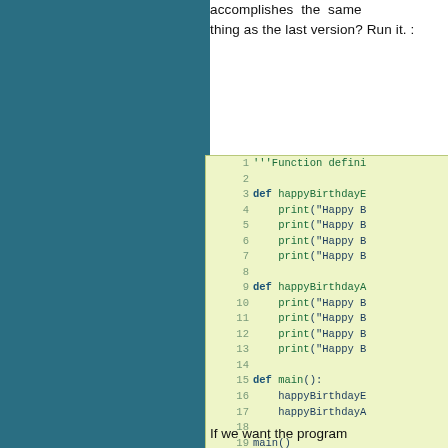accomplishes the same thing as the last version? Run it. :
[Figure (screenshot): Python code block with line numbers 1-19 showing function definitions for happyBirthdayEmily and happyBirthdayAndre, and a main() function, on a light green background]
If we want the program